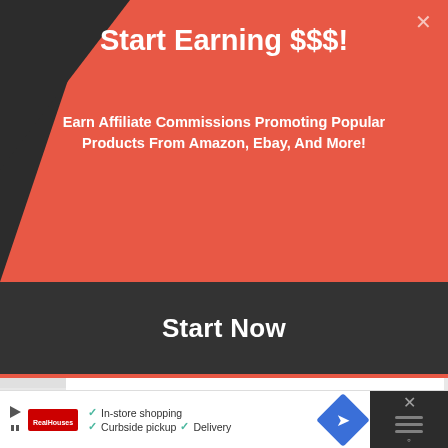Start Earning $$$!
Earn Affiliate Commissions Promoting Popular Products From Amazon, Ebay, And More!
Start Now
The commission structure is pay-per-lead. A lead is generated every time a potential customer completes a ten-question survey centered on their hearing loss. The affiliate program is administered
[Figure (screenshot): Bottom advertisement banner showing a store with In-store shopping, Curbside pickup, and Delivery options with a navigation icon and close button]